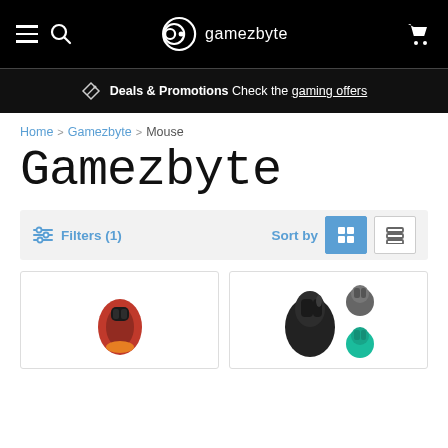gamezeybyte navigation bar with hamburger menu, search icon, logo, and cart icon
Deals & Promotions Check the gaming offers
Home > Gamezeybyte > Mouse
Gamezbyte
Filters (1)  Sort by  [grid view] [list view]
[Figure (photo): Red and black gaming mouse product image]
[Figure (photo): Black and teal wireless mice product images]